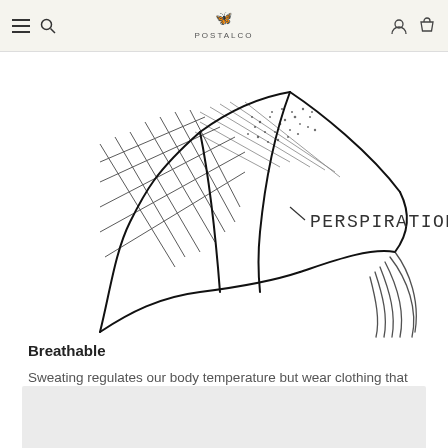POSTALCO
[Figure (illustration): Hand-drawn sketch illustration of a folded garment/fabric with crosshatch shading and dots, with handwritten text 'PERSPIRATION' to the right]
Breathable
Sweating regulates our body temperature but wear clothing that doesn't breathe and you might find yourself soaked from drying sweat. The natural properties of wool give odor-resistance and breathability.